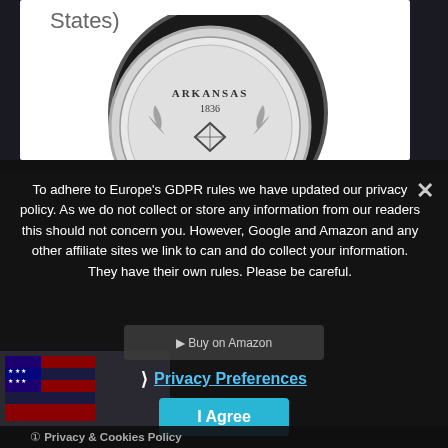States)
[Figure (photo): Arkansas 1836 quarter coin displayed on a black magnet/button, showing diamond and foliage design]
To adhere to Europe's GDPR rules we have updated our privacy policy. As we do not collect or store any information from our readers this should not concern you. However, Google and Amazon and any other affiliate sites we link to can and do collect your information. They have their own rules. Please be careful.
❯ Privacy Preferences
I Agree
Privacy & Cookies Policy